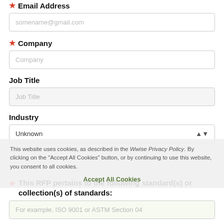★ Email Address
somename@gmail.com
★ Company
Company
Job Title
Job Title
Industry
Unknown
This website uses cookies, as described in the Wwise Privacy Policy. By clicking on the "Accept All Cookies" button, or by continuing to use this website, you consent to all cookies.
Accept All Cookies
★ This RFP pertains to the following standard(s) or collection(s) of standards:
For example, ISO 9001 or ASTM Section 04